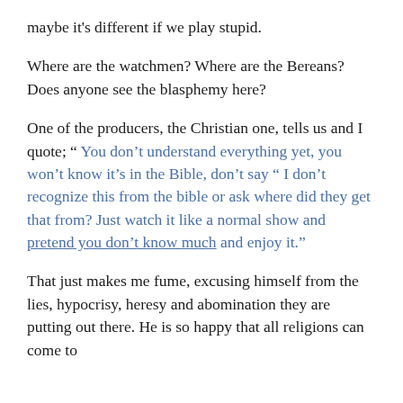maybe it's different if we play stupid.
Where are the watchmen? Where are the Bereans? Does anyone see the blasphemy here?
One of the producers, the Christian one, tells us and I quote; " You don't understand everything yet, you won't know it's in the Bible, don't say " I don't recognize this from the bible or ask where did they get that from? Just watch it like a normal show and pretend you don't know much and enjoy it."
That just makes me fume, excusing himself from the lies, hypocrisy, heresy and abomination they are putting out there. He is so happy that all religions can come to